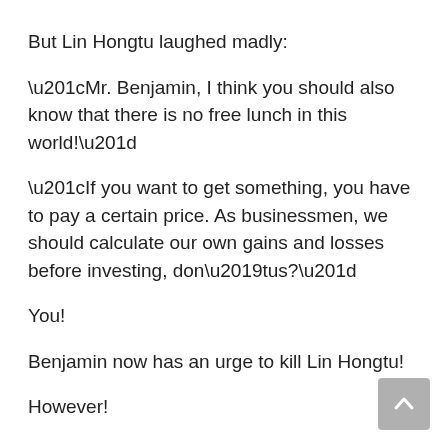But Lin Hongtu laughed madly:
“Mr. Benjamin, I think you should also know that there is no free lunch in this world!”
“If you want to get something, you have to pay a certain price. As businessmen, we should calculate our own gains and losses before investing, don’tus?”
You!
Benjamin now has an urge to kill Lin Hongtu!
However!